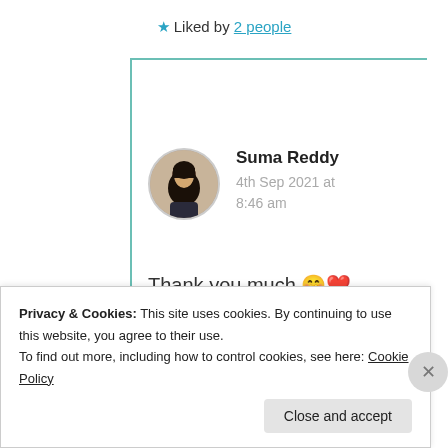★ Liked by 2 people
Suma Reddy
4th Sep 2021 at 8:46 am
Thank you much 🤭❤️
😇🙏🙏
Privacy & Cookies: This site uses cookies. By continuing to use this website, you agree to their use.
To find out more, including how to control cookies, see here: Cookie Policy
Close and accept